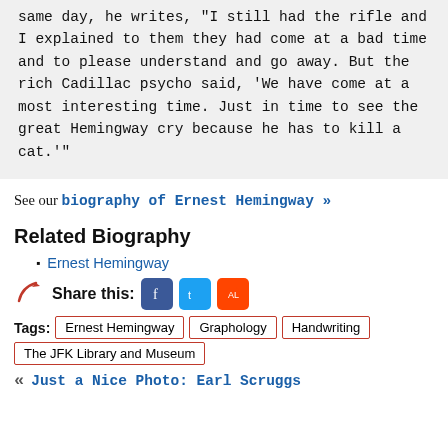same day, he writes, "I still had the rifle and I explained to them they had come at a bad time and to please understand and go away. But the rich Cadillac psycho said, 'We have come at a most interesting time. Just in time to see the great Hemingway cry because he has to kill a cat.'"
See our biography of Ernest Hemingway »
Related Biography
Ernest Hemingway
Share this:
Tags: Ernest Hemingway  Graphology  Handwriting  The JFK Library and Museum
« Just a Nice Photo: Earl Scruggs